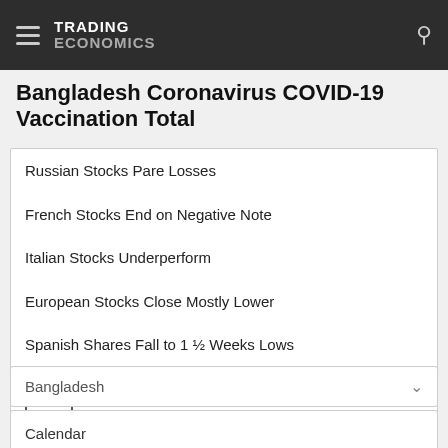TRADING ECONOMICS
Bangladesh Coronavirus COVID-19 Vaccination Total
Russian Stocks Pare Losses
French Stocks End on Negative Note
Italian Stocks Underperform
European Stocks Close Mostly Lower
Spanish Shares Fall to 1 ½ Weeks Lows
Bangladesh
Calendar
Forecast